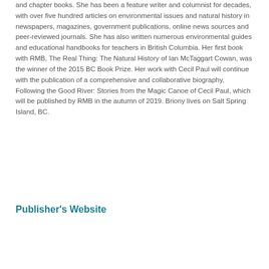and chapter books. She has been a feature writer and columnist for decades, with over five hundred articles on environmental issues and natural history in newspapers, magazines, government publications, online news sources and peer-reviewed journals. She has also written numerous environmental guides and educational handbooks for teachers in British Columbia. Her first book with RMB, The Real Thing: The Natural History of Ian McTaggart Cowan, was the winner of the 2015 BC Book Prize. Her work with Cecil Paul will continue with the publication of a comprehensive and collaborative biography, Following the Good River: Stories from the Magic Canoe of Cecil Paul, which will be published by RMB in the autumn of 2019. Briony lives on Salt Spring Island, BC.
Publisher's Website